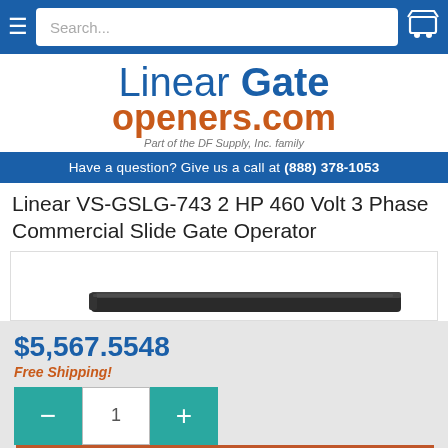Search... [navigation bar with hamburger menu and cart icon]
[Figure (logo): LinearGate openers.com logo - Part of the DF Supply, Inc. family]
Have a question? Give us a call at (888) 378-1053
Linear VS-GSLG-743 2 HP 460 Volt 3 Phase Commercial Slide Gate Operator
[Figure (photo): Product photo of Linear VS-GSLG-743 Commercial Slide Gate Operator - dark colored unit shown partially]
$5,567.5548
Free Shipping!
- 1 + Add to Cart